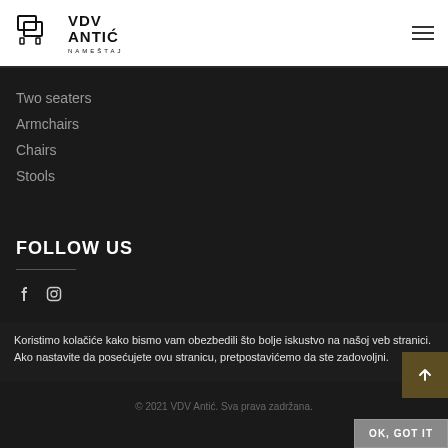VDV ANTIĆ NAMEŠTAJ
Two seaters
Armchairs
Chairs
Stools
FOLLOW US
[Figure (other): Facebook and Instagram social media icons]
Koristimo kolačiće kako bismo vam obezbedili što bolje iskustvo na našoj veb stranici. Ako nastavite da posećujete ovu stranicu, pretpostavićemo da ste zadovoljni.
© 2021 VDV Antić. Sva prava zadržana.